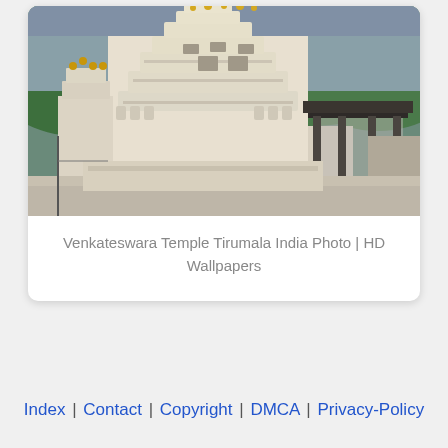[Figure (photo): Photograph of Venkateswara Temple Tirumala India - a white ornate Hindu temple tower (gopuram) with intricate carvings and sculptures, green forested hills in background, a dark pillared pavilion structure to the right, photographed at dusk/evening]
Venkateswara Temple Tirumala India Photo | HD Wallpapers
Index | Contact | Copyright | DMCA | Privacy-Policy